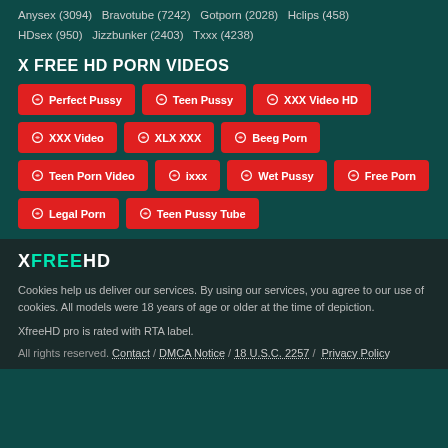Anysex (3094)   Bravotube (7242)   Gotporn (2028)   Hclips (458)   HDsex (950)   Jizzbunker (2403)   Txxx (4238)
X FREE HD PORN VIDEOS
Perfect Pussy
Teen Pussy
XXX Video HD
XXX Video
XLX XXX
Beeg Porn
Teen Porn Video
ixxx
Wet Pussy
Free Porn
Legal Porn
Teen Pussy Tube
XFREEHD - Cookies help us deliver our services. By using our services, you agree to our use of cookies. All models were 18 years of age or older at the time of depiction. XfreeHD pro is rated with RTA label. All rights reserved. Contact / DMCA Notice / 18 U.S.C. 2257 / Privacy Policy